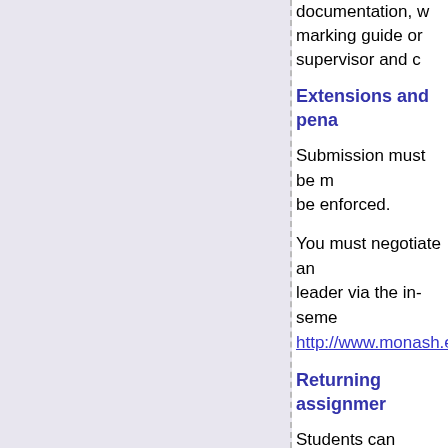documentation, marking guide or supervisor and c
Extensions and pena
Submission must be m be enforced.
You must negotiate an leader via the in-seme http://www.monash.ed
Returning assignmer
Students can expect a of the submission date
Assignment submiss
It is a University requir bank/academic/educat managing-plagiarism-c submit an assignment Faculty Assignment co